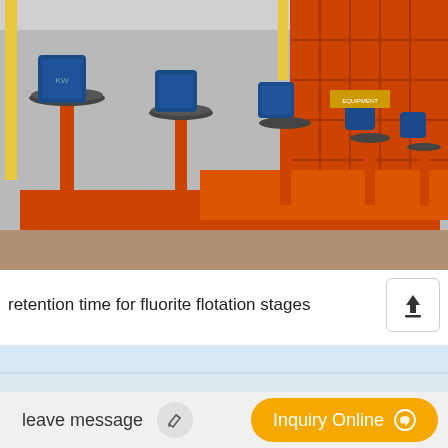[Figure (photo): Industrial flotation machine equipment with orange tanks/troughs and blue electric motors mounted on top, arranged in a row inside a warehouse/factory. Large orange rectangular structures visible in the background.]
retention time for fluorite flotation stages
[Figure (photo): Partial second image visible at bottom — appears to be a lighter outdoor/sky scene, partially cut off.]
leave message
Inquiry Online